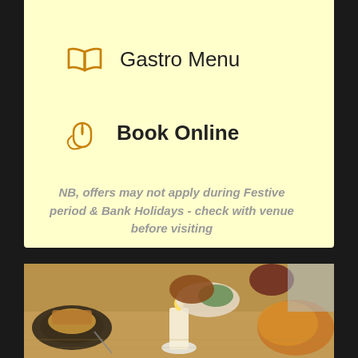Gastro Menu
Book Online
NB, offers may not apply during Festive period & Bank Holidays - check with venue before visiting
[Figure (photo): Photo of food on a restaurant table including Yorkshire puddings, vegetables, meat dishes, a lit candle, and a glass of red wine.]